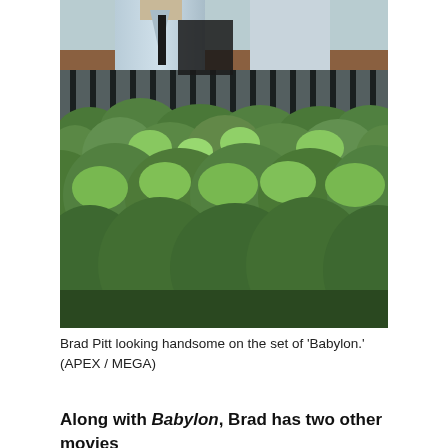[Figure (photo): Brad Pitt on the set of 'Babylon', photographed from behind green hedges/bushes with a fence visible in the background. He appears to be wearing a light blue/grey suit.]
Brad Pitt looking handsome on the set of 'Babylon.' (APEX / MEGA)
Along with Babylon, Brad has two other movies